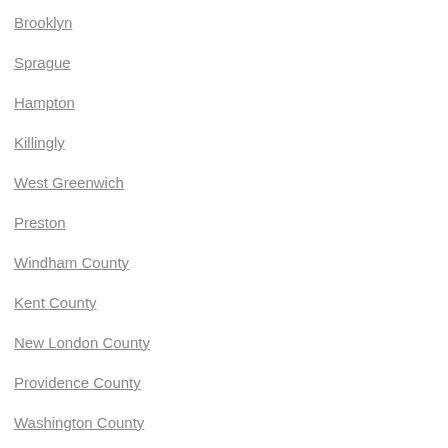Brooklyn
Sprague
Hampton
Killingly
West Greenwich
Preston
Windham County
Kent County
New London County
Providence County
Washington County